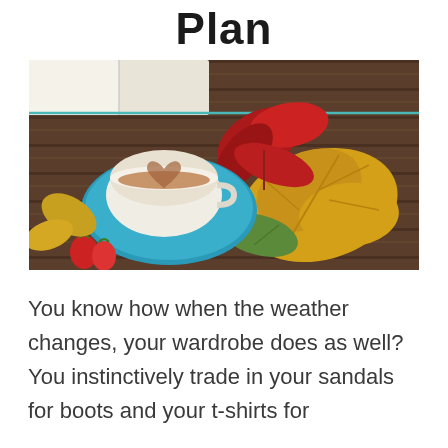Plan
[Figure (photo): Overhead view of autumn scene on dark wooden table: a blue saucer with a white teacup containing a heart-shaped tea bag impression, surrounded by colorful autumn leaves in red, yellow, and green, with red strawberries and an open book partially visible.]
You know how when the weather changes, your wardrobe does as well? You instinctively trade in your sandals for boots and your t-shirts for